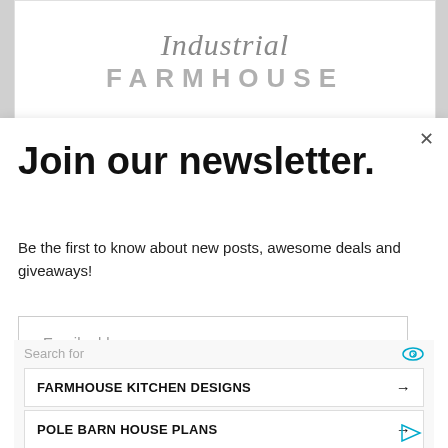[Figure (logo): Industrial Farmhouse logo with italic serif 'Industrial' above bold sans-serif 'FARMHOUSE' text in gray]
Join our newsletter.
Be the first to know about new posts, awesome deals and giveaways!
Email address
Subscribe
Search for
FARMHOUSE KITCHEN DESIGNS →
POLE BARN HOUSE PLANS →